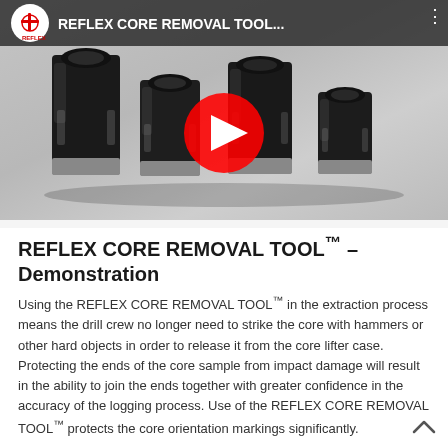[Figure (screenshot): YouTube video thumbnail showing four black cylindrical core removal tools on a grey background, with a YouTube play button overlay. Top bar shows Reflex logo and title 'REFLEX CORE REMOVAL TOOL...' with three-dot menu.]
REFLEX CORE REMOVAL TOOL™ – Demonstration
Using the REFLEX CORE REMOVAL TOOL™ in the extraction process means the drill crew no longer need to strike the core with hammers or other hard objects in order to release it from the core lifter case. Protecting the ends of the core sample from impact damage will result in the ability to join the ends together with greater confidence in the accuracy of the logging process. Use of the REFLEX CORE REMOVAL TOOL™ protects the core orientation markings significantly.